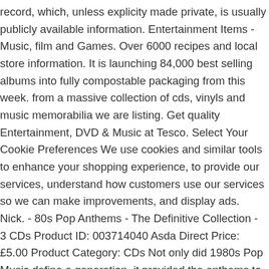record, which, unless explicity made private, is usually publicly available information. Entertainment Items -Music, film and Games. Over 6000 recipes and local store information. It is launching 84,000 best selling albums into fully compostable packaging from this week. from a massive collection of cds, vinyls and music memorabilia we are listing. Get quality Entertainment, DVD & Music at Tesco. Select Your Cookie Preferences We use cookies and similar tools to enhance your shopping experience, to provide our services, understand how customers use our services so we can make improvements, and display ads. Nick. - 80s Pop Anthems - The Definitive Collection - 3 CDs Product ID: 003714040 Asda Direct Price: £5.00 Product Category: CDs Not only did 1980s Pop Music define a generation, it provided the anthems to daily life.